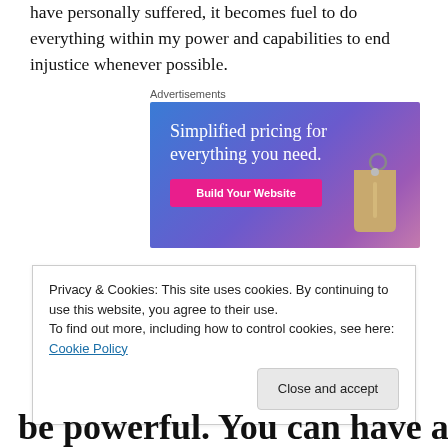have personally suffered, it becomes fuel to do everything within my power and capabilities to end injustice whenever possible.
[Figure (screenshot): Advertisement banner with blue-to-purple gradient background, white serif text 'Simplified pricing for everything you need.', a pink 'Build Your Website' button, and a tan price tag illustration on the right side.]
Privacy & Cookies: This site uses cookies. By continuing to use this website, you agree to their use.
To find out more, including how to control cookies, see here: Cookie Policy
be powerful. You can have a